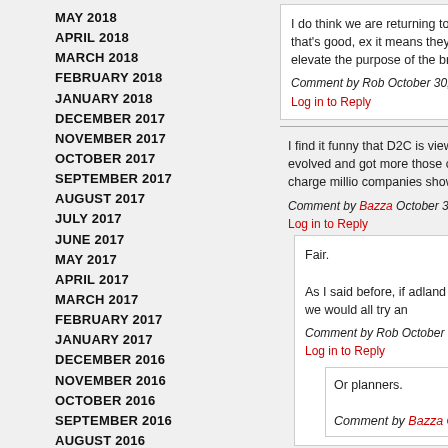MAY 2018
APRIL 2018
MARCH 2018
FEBRUARY 2018
JANUARY 2018
DECEMBER 2017
NOVEMBER 2017
OCTOBER 2017
SEPTEMBER 2017
AUGUST 2017
JULY 2017
JUNE 2017
MAY 2017
APRIL 2017
MARCH 2017
FEBRUARY 2017
JANUARY 2017
DECEMBER 2016
NOVEMBER 2016
OCTOBER 2016
SEPTEMBER 2016
AUGUST 2016
JULY 2016
JUNE 2016
MAY 2016
APRIL 2016
MARCH 2016
FEBRUARY 2016
JANUARY 2016
DECEMBER 2015
NOVEMBER 2015
I do think we are returning to br... perspective. And that's good, ex... it means they have to do is put to elevate the purpose of the br... directors ego, likes. Comment by Rob October 30, 2... Log in to Reply
I find it funny that D2C is viewed as decades. It's evolved and got more those consultants who charge millio... companies show they're fraudsters Comment by Bazza October 30, 20... Log in to Reply
Fair. As I said before, if adland or co... paper plane, we would all try an... Comment by Rob October 30, 2... Log in to Reply
Or planners. Comment by Bazza Octobe...